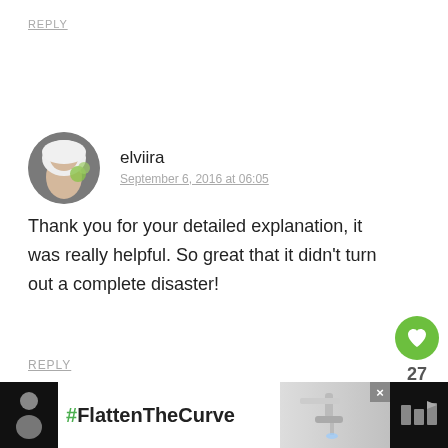REPLY
elviira
September 6, 2016 at 06:05
Thank you for your detailed explanation, it was really helpful. So great that it didn't turn out a complete disaster!
REPLY
[Figure (infographic): Green heart like button with count 27 and share button]
[Figure (infographic): Ad banner with #FlattenTheCurve text and hand washing image]